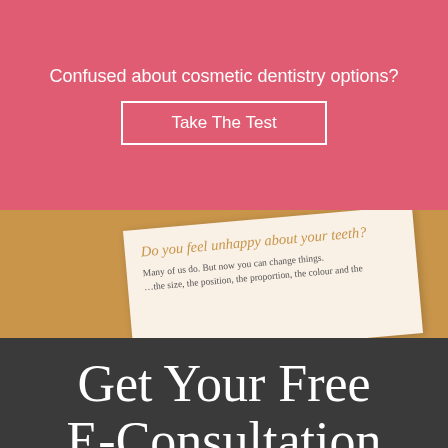Confused about cosmetic dentistry options?
Take The Test
[Figure (photo): A tilted white brochure/booklet showing the heading 'Do you feel unhappy about your teeth?' in gold italic text, with body text 'Many of us do. But now you can change things.' and partial text about size, position, proportion, colour. The brochure sits on a tan/gold background.]
Get Your Free E-Consultation
Want to find out about how treatments at the world-renowned Harley Street Dental Studio can help you achieve your perfect smile? Take our free e-consultation to find out.